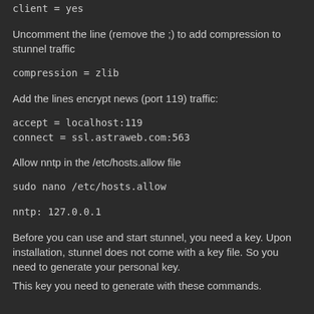client = yes
Uncomment the line (remove the ;) to add compression to stunnel traffic
compression = zlib
Add the lines encrypt news (port 119) traffic:
accept = localhost:119
connect = ssl.astraweb.com:563
Allow nntp in the /etc/hosts.allow file
sudo nano /etc/hosts.allow
nntp: 127.0.0.1
Before you can use and start stunnel, you need a key. Upon installation, stunnel does not come with a key file. So you need to generate your personal key.
This key you need to generate with these commands.